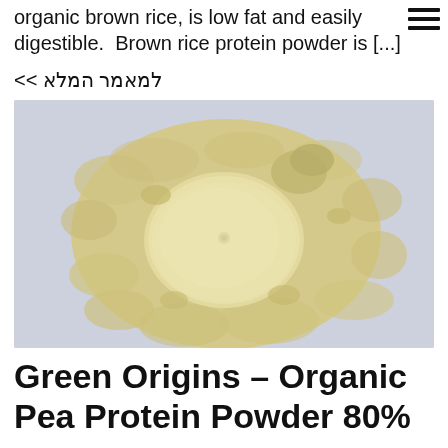organic brown rice, is low fat and easily digestible.  Brown rice protein powder is [...]
>> למאמר המלא
[Figure (photo): A photo of beige/cream colored protein powder spread on a light blue surface, with a rounded disc shape of the powder in the center and loose powder surrounding it.]
Green Origins – Organic Pea Protein Powder 80%